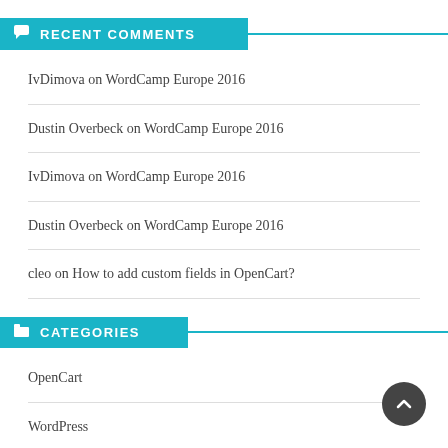RECENT COMMENTS
IvDimova on WordCamp Europe 2016
Dustin Overbeck on WordCamp Europe 2016
IvDimova on WordCamp Europe 2016
Dustin Overbeck on WordCamp Europe 2016
cleo on How to add custom fields in OpenCart?
CATEGORIES
OpenCart
WordPress